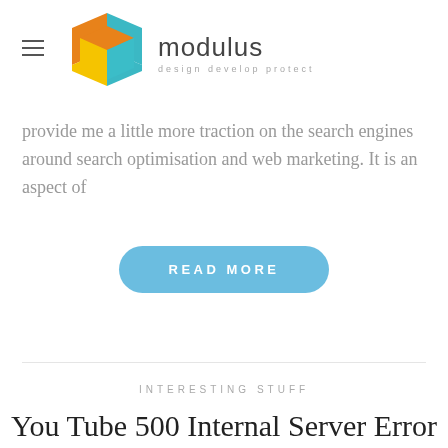modulus — design develop protect
provide me a little more traction on the search engines around search optimisation and web marketing. It is an aspect of
READ MORE
INTERESTING STUFF
You Tube 500 Internal Server Error